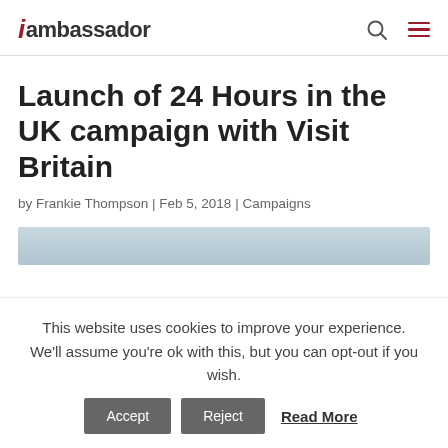iambassador
Launch of 24 Hours in the UK campaign with Visit Britain
by Frankie Thompson | Feb 5, 2018 | Campaigns
[Figure (photo): Landscape/scenery photo strip, partially visible]
This website uses cookies to improve your experience. We'll assume you're ok with this, but you can opt-out if you wish. Accept Reject Read More